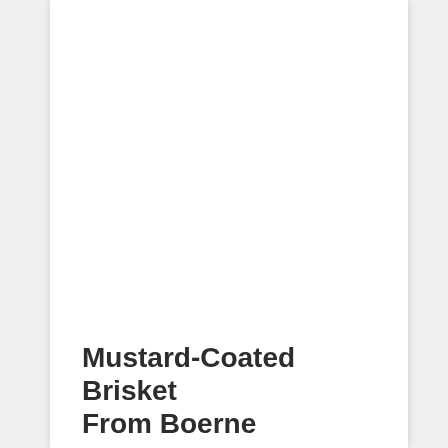Mustard-Coated Brisket From Boerne